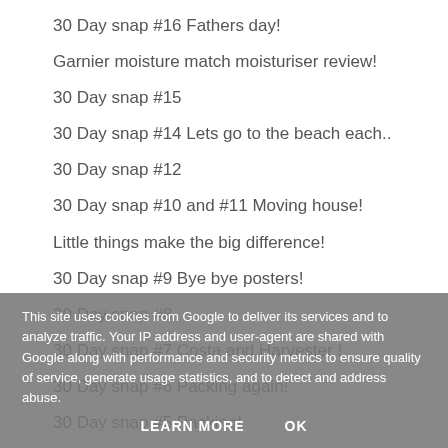30 Day snap #16 Fathers day!
Garnier moisture match moisturiser review!
30 Day snap #15
30 Day snap #14 Lets go to the beach each..
30 Day snap #12
30 Day snap #10 and #11 Moving house!
Little things make the big difference!
30 Day snap #9 Bye bye posters!
30 Day snap #8
30 Day snap #7 Costa and Harvester !
30 Day snap #6 Packing again!
30 Day snap #5 Packing!
30 Day snap #4 (faded behind overlay)
Now: Pregnancy makeup lookin... (faded behind overlay)
30 Day snap #2 Misunderstood! (faded behind overlay)
This site uses cookies from Google to deliver its services and to analyze traffic. Your IP address and user-agent are shared with Google along with performance and security metrics to ensure quality of service, generate usage statistics, and to detect and address abuse.
LEARN MORE    OK